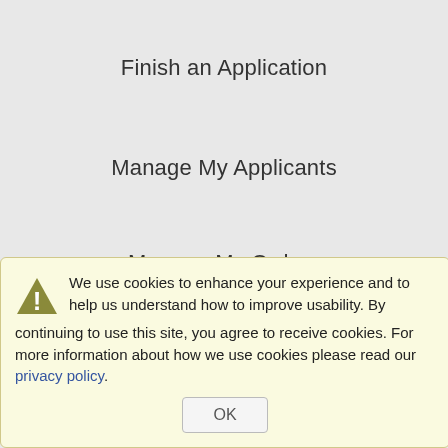Finish an Application
Manage My Applicants
Manage My Orders
Questions?
Site map
We use cookies to enhance your experience and to help us understand how to improve usability. By continuing to use this site, you agree to receive cookies. For more information about how we use cookies please read our privacy policy.
OK